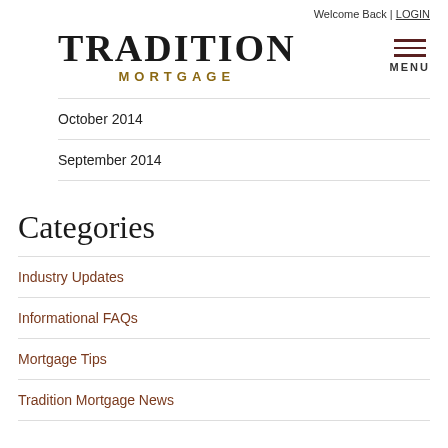Welcome Back | LOGIN
[Figure (logo): Tradition Mortgage logo with hamburger menu icon]
October 2014
September 2014
Categories
Industry Updates
Informational FAQs
Mortgage Tips
Tradition Mortgage News